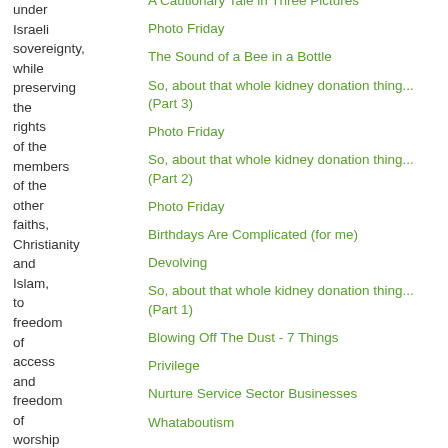under Israeli sovereignty, while preserving the rights of the members of the other faiths, Christianity and Islam, to freedom of access and freedom of worship in
A Cautionary Tale in Three Pictures
Photo Friday
The Sound of a Bee in a Bottle
So, about that whole kidney donation thing... (Part 3)
Photo Friday
So, about that whole kidney donation thing... (Part 2)
Photo Friday
Birthdays Are Complicated (for me)
Devolving
So, about that whole kidney donation thing... (Part 1)
Blowing Off The Dust - 7 Things
Privilege
Nurture Service Sector Businesses
Whataboutism